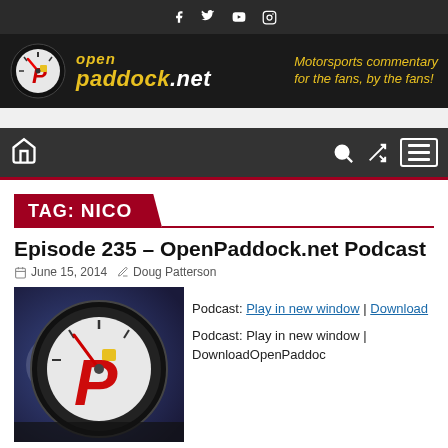Social icons: Facebook, Twitter, YouTube, Instagram
[Figure (logo): OpenPaddock.net logo banner — speedometer icon with red P, yellow italic text 'open paddock.net', tagline 'Motorsports commentary for the fans, by the fans!']
Navigation bar with home icon, search icon, shuffle icon, menu icon
TAG: NICO
Episode 235 – OpenPaddock.net Podcast
June 15, 2014  Doug Patterson
[Figure (logo): OpenPaddock.net podcast logo: speedometer dial with red P letter on dark background]
Podcast: Play in new window | Download
Podcast: Play in new window | DownloadOpenPaddoc